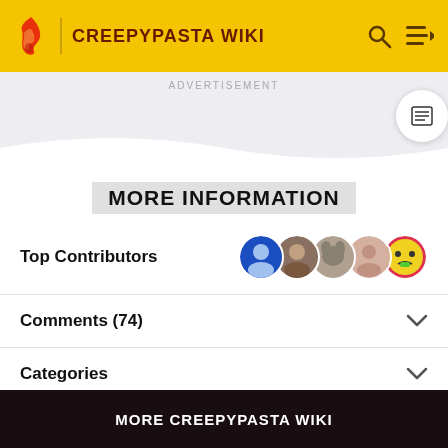CREEPYPASTA WIKI
ADVERTISEMENT
MORE INFORMATION
Top Contributors
Comments (74)
Categories
Community content is available under CC-BY-SA unless otherwise noted.
MORE CREEPYPASTA WIKI